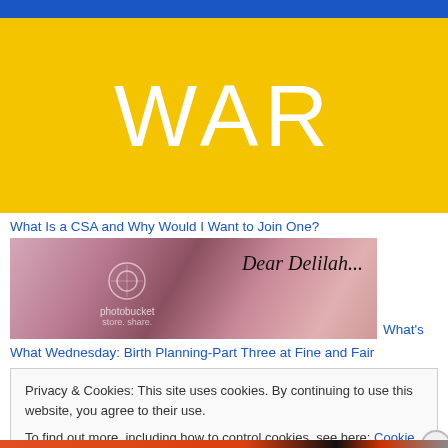[Figure (other): Blue horizontal bar at top of page]
WAR
What Is a CSA and Why Would I Want to Join One?
[Figure (photo): Photo of baby feet wrapped in pink and green fabric, with 'Dear Delilah...' text overlay and Photobucket watermark]
What's
What Wednesday: Birth Planning-Part Three at Fine and Fair
Privacy & Cookies: This site uses cookies. By continuing to use this website, you agree to their use.
To find out more, including how to control cookies, see here: Cookie Policy
Close and accept